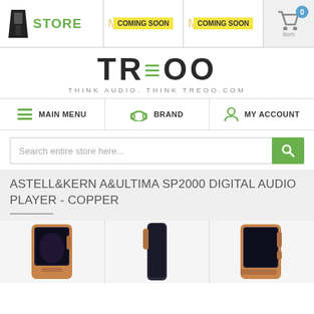[Figure (screenshot): Top navigation bar with STORE link, two COMING SOON badges (MA...OP and MA...CE), and shopping cart icon with 0 items]
[Figure (logo): TREOO logo with tagline THINK AUDIO. THINK TREOO.COM]
[Figure (screenshot): Main navigation menu with MAIN MENU (hamburger icon), BRAND (headphones icon), MY ACCOUNT (person icon)]
[Figure (screenshot): Search bar with placeholder text 'Search entire store here...' and green search button]
ASTELL&KERN A&ULTIMA SP2000 DIGITAL AUDIO PLAYER - COPPER
[Figure (photo): Three product photos of Astell&Kern A&Ultima SP2000 Digital Audio Player in Copper color showing different angles]